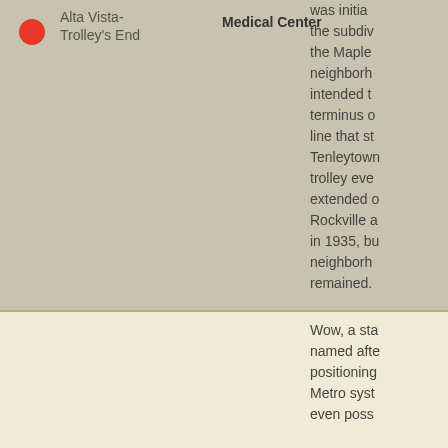Alta Vista-Trolley's End — Medical Center
was initiated... the subdivision the Maplewood neighborhood intended to terminus of line that started Tenleytown trolley eventually extended over Rockville area in 1935, but neighborhood remained.
Wow, a station named after positioning Metro system even possibly